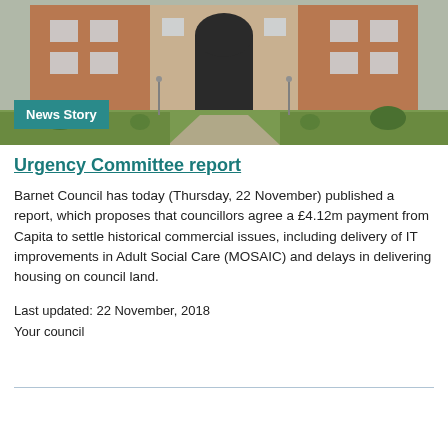[Figure (photo): Exterior photograph of a historic brick building with arched entrance, green lawns and pathway leading to the entrance.]
News Story
Urgency Committee report
Barnet Council has today (Thursday, 22 November) published a report, which proposes that councillors agree a £4.12m payment from Capita to settle historical commercial issues, including delivery of IT improvements in Adult Social Care (MOSAIC) and delays in delivering housing on council land.
Last updated: 22 November, 2018
Your council